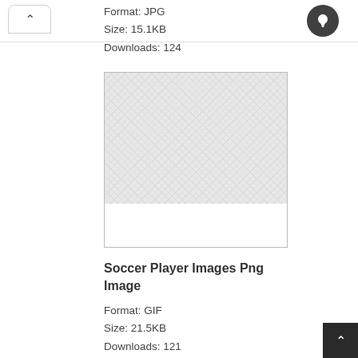Format: JPG
Size: 15.1KB
Downloads: 124
[Figure (photo): Image preview placeholder with checkered gray background, no image loaded]
Soccer Player Images Png Image
Format: GIF
Size: 21.5KB
Downloads: 121